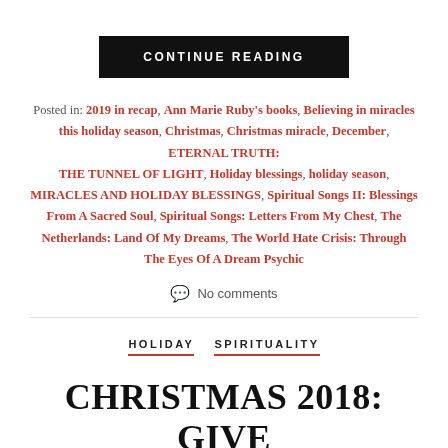CONTINUE READING
Posted in: 2019 in recap, Ann Marie Ruby's books, Believing in miracles this holiday season, Christmas, Christmas miracle, December, ETERNAL TRUTH: THE TUNNEL OF LIGHT, Holiday blessings, holiday season, MIRACLES AND HOLIDAY BLESSINGS, Spiritual Songs II: Blessings From A Sacred Soul, Spiritual Songs: Letters From My Chest, The Netherlands: Land Of My Dreams, The World Hate Crisis: Through The Eyes Of A Dream Psychic
No comments
HOLIDAY  SPIRITUALITY
CHRISTMAS 2018: GIVE THE GIFTS OF LOVE,